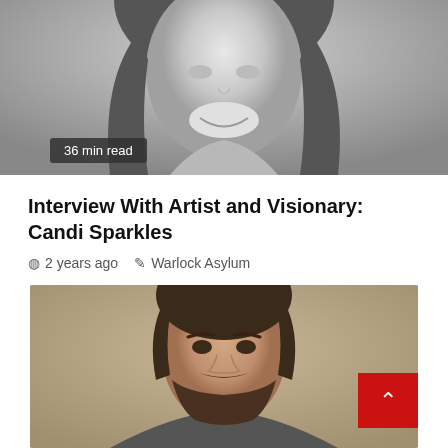[Figure (photo): Grayscale portrait photo of a smiling woman with long dark hair, cropped to show face and shoulders, with '36 min read' badge overlaid at bottom left]
36 min read
Interview With Artist and Visionary: Candi Sparkles
2 years ago   Warlock Asylum
[Figure (photo): Color portrait photo of a bearded young man with dark hair looking at the camera against a warm beige/tan background]